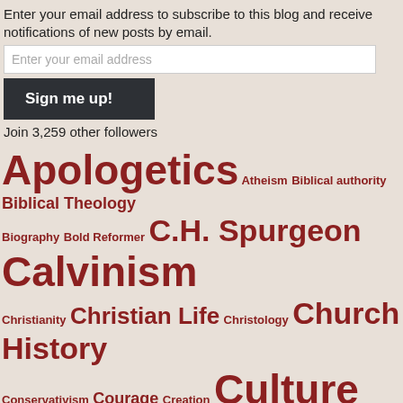Enter your email address to subscribe to this blog and receive notifications of new posts by email.
Enter your email address
Sign me up!
Join 3,259 other followers
Apologetics Atheism Biblical authority Biblical Theology Biography Bold Reformer C.H. Spurgeon Calvinism Christianity Christian Life Christology Church History Conservativism Courage Creation Culture David Steele Discipleship Division Epistemology Evangelism Evolution Expository Preaching Francis Schaeffer